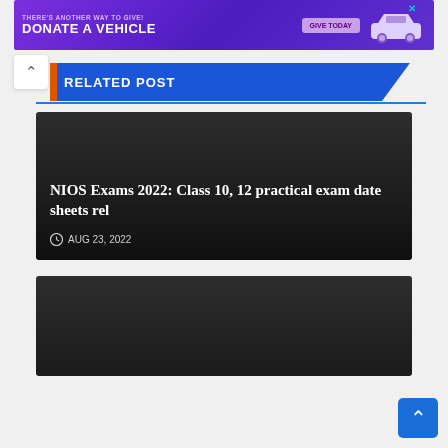[Figure (illustration): Advertisement banner: purple gradient background with text 'THERE'S ANOTHER WAY TO GIVE! DONATE A VEHICLE' with a 'GIVE TODAY' button and car image, with a close X button]
RELATED POST
[Figure (illustration): Dark card with article title 'NIOS Exams 2022: Class 10, 12 practical exam date sheets rel' and date 'AUG 23, 2022' with clock icon]
[Figure (illustration): Dark card for a second related post article, partially visible]